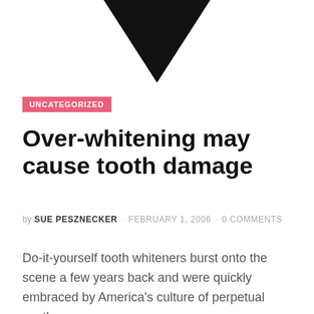[Figure (illustration): Black downward-pointing triangle/arrow shape at the top center of the page, partially cropped]
UNCATEGORIZED
Over-whitening may cause tooth damage
by SUE PESZNECKER · FEBRUARY 1, 2006 · 0 COMMENTS
Do-it-yourself tooth whiteners burst onto the scene a few years back and were quickly embraced by America's culture of perpetual youth.